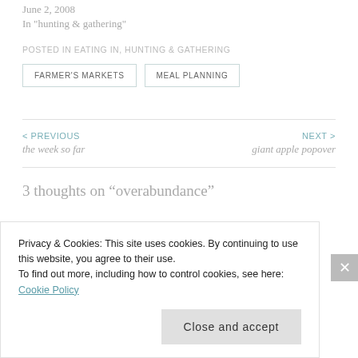June 2, 2008
In "hunting & gathering"
POSTED IN EATING IN, HUNTING & GATHERING
FARMER'S MARKETS
MEAL PLANNING
< PREVIOUS
the week so far
NEXT >
giant apple popover
3 thoughts on “overabundance”
Privacy & Cookies: This site uses cookies. By continuing to use this website, you agree to their use.
To find out more, including how to control cookies, see here: Cookie Policy
Close and accept